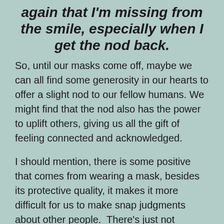again that I'm missing from the smile, especially when I get the nod back.
So, until our masks come off, maybe we can all find some generosity in our hearts to offer a slight nod to our fellow humans. We might find that the nod also has the power to uplift others, giving us all the gift of feeling connected and acknowledged.
I should mention, there is some positive that comes from wearing a mask, besides its protective quality, it makes it more difficult for us to make snap judgments about other people.  There's just not enough information